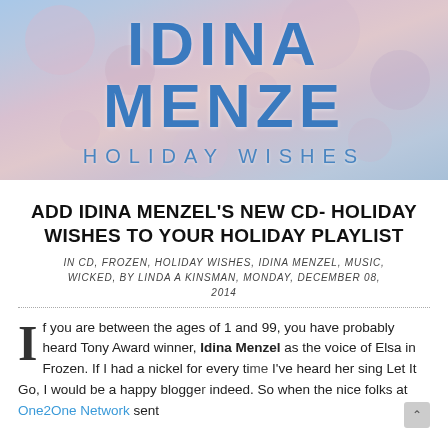[Figure (photo): Idina Menzel Holiday Wishes album cover banner with large text 'IDINA MENZE' and subtitle 'HOLIDAY WISHES' on a pink and blue floral background]
ADD IDINA MENZEL'S NEW CD- HOLIDAY WISHES TO YOUR HOLIDAY PLAYLIST
IN CD, FROZEN, HOLIDAY WISHES, IDINA MENZEL, MUSIC, WICKED, BY LINDA A KINSMAN, MONDAY, DECEMBER 08, 2014
If you are between the ages of 1 and 99, you have probably heard Tony Award winner, Idina Menzel as the voice of Elsa in Frozen. If I had a nickel for every ti I've heard her sing Let It Go, I would be a happy blogge. indeed. So when the nice folks at One2One Network sent